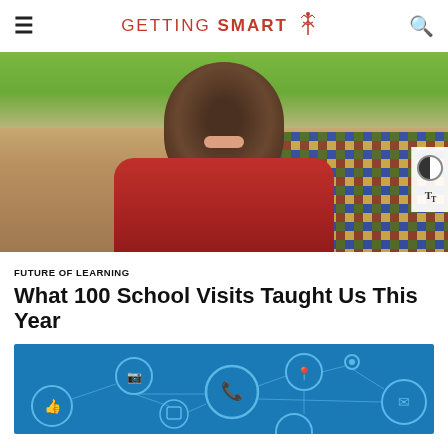GETTING SMART
[Figure (photo): Smiling young student in a red hoodie sitting on a couch with colorful pillows and a green wall background]
FUTURE OF LEARNING
What 100 School Visits Taught Us This Year
[Figure (illustration): Blue background network/IoT infographic with connected circular icons showing various technology symbols including a thumbs up, camera, phone, location pin, envelope, and other icons connected by lines]